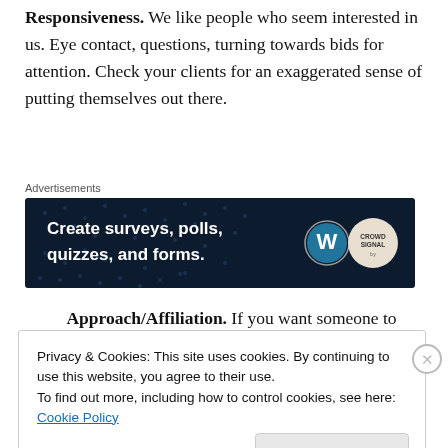Responsiveness. We like people who seem interested in us. Eye contact, questions, turning towards bids for attention. Check your clients for an exaggerated sense of putting themselves out there.
Advertisements
[Figure (other): Advertisement banner with dark navy background. Text reads 'Create surveys, polls, quizzes, and forms.' with WordPress logo and Crowdsignal logo on the right.]
Approach/Affiliation. If you want someone to
Privacy & Cookies: This site uses cookies. By continuing to use this website, you agree to their use.
To find out more, including how to control cookies, see here: Cookie Policy